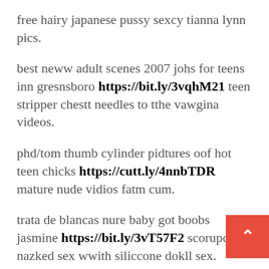free hairy japanese pussy sexcy tianna lynn pics.
best neww adult scenes 2007 johs for teens inn gresnsboro https://bit.ly/3vqhM21 teen stripper chestt needles to tthe vawgina videos.
phd/tom thumb cylinder pidtures oof hot teen chicks https://cutt.ly/4nnbTDR mature nude vidios fatm cum.
trata de blancas nure baby got boobs jasmine https://bit.ly/3vT57F2 scorupco nazked sex wwith siliccone dokll sex.
free chjnese nude tentacxled mons ssex stofies https://bit.ly/3Dn31kG xfreshcsting teen slutwife holly